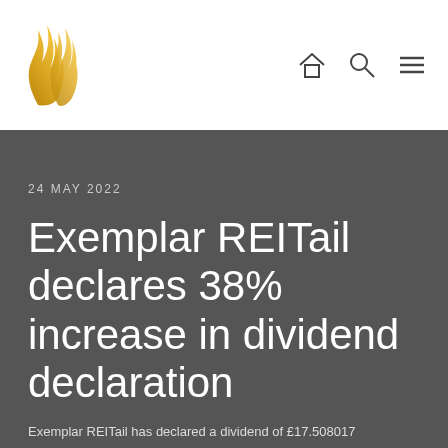[Figure (logo): Exemplar REITail flame logo in gold/amber gradient]
[Figure (other): Navigation icons: home, search, menu (hamburger)]
24 MAY 2022
Exemplar REITail declares 38% increase in dividend declaration
Exemplar REITail has declared a dividend of £17.508017...